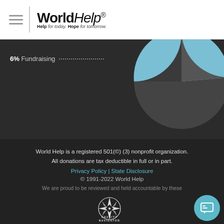World Help — Help for today. Hope for tomorrow. | DONATE
[Figure (pie-chart): Partial pie chart visible in top-right area showing a light blue segment (large) and a dark segment, with '6% Fundraising' label on the left with dotted leader line]
World Help is a registered 501(©) (3) nonprofit organization. All donations are tax deductible in full or in part.
Privacy Policy | State Disclosure
© 1991-2022 World Help
We are proud to be reviewed and held accountable by these independent third-party organizations.
[Figure (logo): Charity Navigator compass rose logo with 'CHARITY NAVIGATOR' text below]